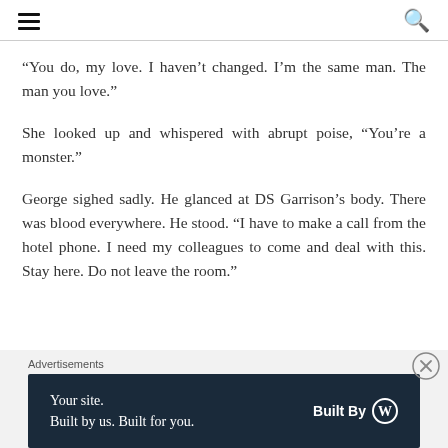[hamburger menu icon] [search icon]
“You do, my love. I haven’t changed. I’m the same man. The man you love.”
She looked up and whispered with abrupt poise, “You’re a monster.”
George sighed sadly. He glanced at DS Garrison’s body. There was blood everywhere. He stood. "I have to make a call from the hotel phone. I need my colleagues to come and deal with this. Stay here. Do not leave the room."
Advertisements
Your site.
Built by us. Built for you.
Built By [WordPress logo]